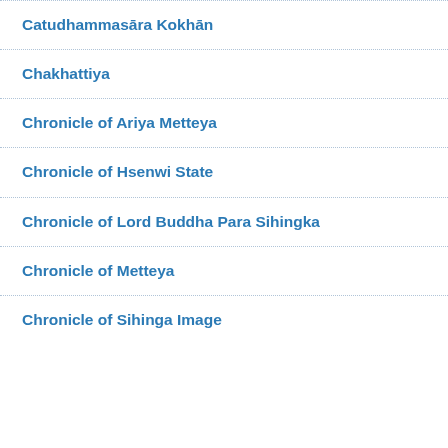Catudhammasāra Kokhān
Chakhattiya
Chronicle of Ariya Metteya
Chronicle of Hsenwi State
Chronicle of Lord Buddha Para Sihingka
Chronicle of Metteya
Chronicle of Sihinga Image